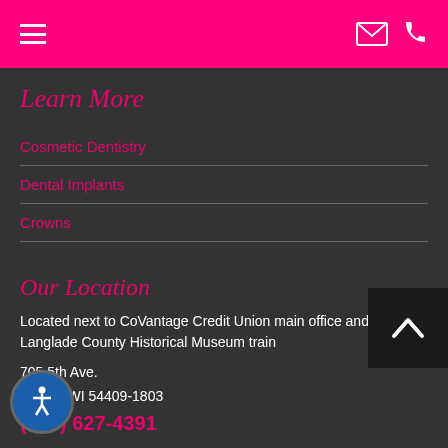Navigation header with hamburger menu, email icon, and phone icon
Learn More
Cosmetic Dentistry
Dental Implants
Crowns
Our Location
Located next to CoVantage Credit Union main office and Langlade County Historical Museum train
705 5th Ave.
Antigo, WI 54409-1803
(715) 627-4391